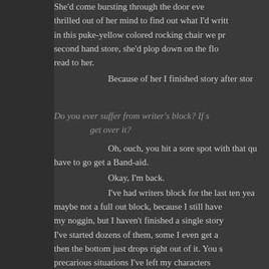She'd come bursting through the door every thrilled out of her mind to find out what I'd writ in this puke-yellow colored rocking chair we pr second hand store, she'd plop down on the flo read to her.
Because of her I finished story after stor
Do you ever suffer from writer's block? If s get over it?
Oh, ouch, you hit a sore spot with that qu have to go get a Band-aid.
Okay, I'm back.
I've had writers block for the last ten yea maybe not a full out block, because I still have my noggin, but I haven't finished a single story I've started dozens of them, some I even get a then the bottom just drops right out of it. You s precarious situations I've left my characters